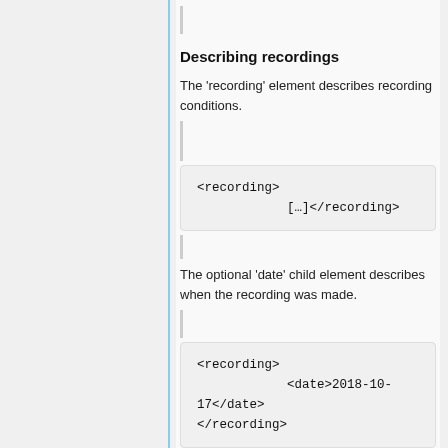Describing recordings
The 'recording' element describes recording conditions.
<recording>
            […]</recording>
The optional 'date' child element describes when the recording was made.
<recording>
            <date>2018-10-17</date>
</recording>